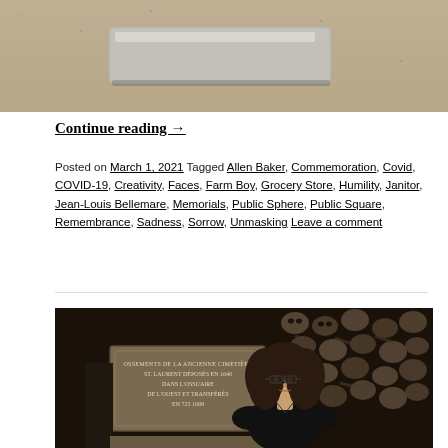[Figure (photo): Top portion of a photo showing what appears to be a glass or plastic transparent object on a sandy or grainy surface, cropped at top of page]
Continue reading →
Posted on March 1, 2021 Tagged Allen Baker, Commemoration, Covid, COVID-19, Creativity, Faces, Farm Boy, Grocery Store, Humility, Janitor, Jean-Louis Bellemare, Memorials, Public Sphere, Public Square, Remembrance, Sadness, Sorrow, Unmasking Leave a comment
[Figure (photo): Photo of a woman with glasses and curly dark hair, wearing a black top, standing in front of a wall of skulls and bones in what appears to be the Paris Catacombs, with a stone inscription plaque visible to her left]